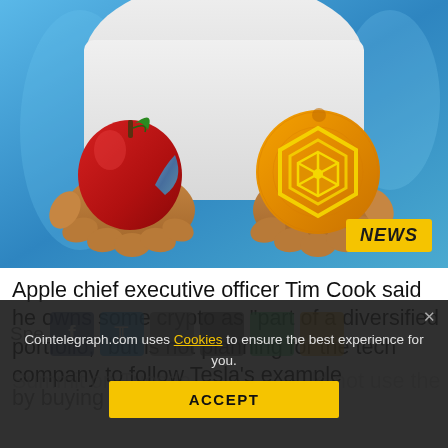[Figure (illustration): Illustrated image of hands holding a red apple (with green leaf) in one hand and an orange with a hexagonal crypto logo in the other hand. Blue background. Yellow 'NEWS' badge in bottom right corner.]
Apple chief executive officer Tim Cook said he owns some crypto as "part of a diversified portfolio," but is not planning for the tech company to follow Tesla's example by buying Bitcoin.
Cointelegraph.com uses Cookies to ensure the best experience for you.
ACCEPT